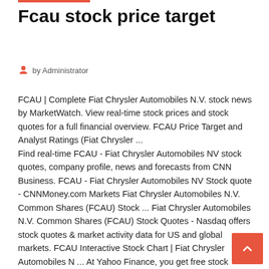Fcau stock price target
by Administrator
FCAU | Complete Fiat Chrysler Automobiles N.V. stock news by MarketWatch. View real-time stock prices and stock quotes for a full financial overview. FCAU Price Target and Analyst Ratings (Fiat Chrysler ...
Find real-time FCAU - Fiat Chrysler Automobiles NV stock quotes, company profile, news and forecasts from CNN Business. FCAU - Fiat Chrysler Automobiles NV Stock quote - CNNMoney.com Markets Fiat Chrysler Automobiles N.V. Common Shares (FCAU) Stock ... Fiat Chrysler Automobiles N.V. Common Shares (FCAU) Stock Quotes - Nasdaq offers stock quotes & market activity data for US and global markets. FCAU Interactive Stock Chart | Fiat Chrysler Automobiles N ... At Yahoo Finance, you get free stock quotes, up-to-date news, portfolio management resources, international market data, social interaction and mortgage rates that help you manage your financial life.